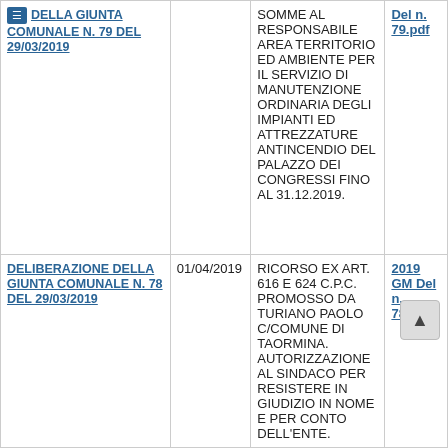| Atto | Data | Oggetto | Documento |
| --- | --- | --- | --- |
| DELIBERAZIONE DELLA GIUNTA COMUNALE N. 79 DEL 29/03/2019 |  | SOMME AL RESPONSABILE AREA TERRITORIO ED AMBIENTE PER IL SERVIZIO DI MANUTENZIONE ORDINARIA DEGLI IMPIANTI ED ATTREZZATURE ANTINCENDIO DEL PALAZZO DEI CONGRESSI FINO AL 31.12.2019. | Del n. 79.pdf |
| DELIBERAZIONE DELLA GIUNTA COMUNALE N. 78 DEL 29/03/2019 | 01/04/2019 | RICORSO EX ART. 616 E 624 C.P.C. PROMOSSO DA TURIANO PAOLO C/COMUNE Di TAORMINA. AUTORIZZAZIONE AL SINDACO PER RESISTERE IN GIUDIZIO IN NOME E PER CONTO DELL'ENTE. | 2019 GM Del n. 78.pdf |
| DELIBERAZIONE | 01/04/2019 | APPROVAZIONE DEL... | 2019 GM... |